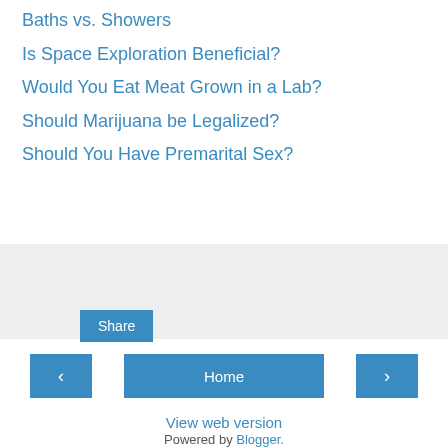Baths vs. Showers
Is Space Exploration Beneficial?
Would You Eat Meat Grown in a Lab?
Should Marijuana be Legalized?
Should You Have Premarital Sex?
Share
‹  Home  ›  View web version  Powered by Blogger.